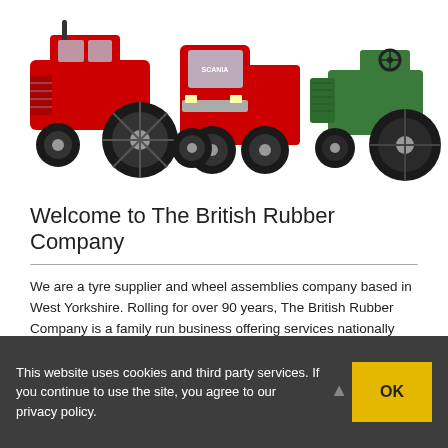[Figure (photo): Three vehicles side by side: a red Massey Ferguson tractor on the left, a red Scania truck in the centre, and a vintage green tractor on the right, all on a white background.]
Welcome to The British Rubber Company
We are a tyre supplier and wheel assemblies company based in West Yorkshire. Rolling for over 90 years, The British Rubber Company is a family run business offering services nationally and internationally.
Free Quotations – Call us for an instant no-
This website uses cookies and third party services. If you continue to use the site, you agree to our privacy policy.